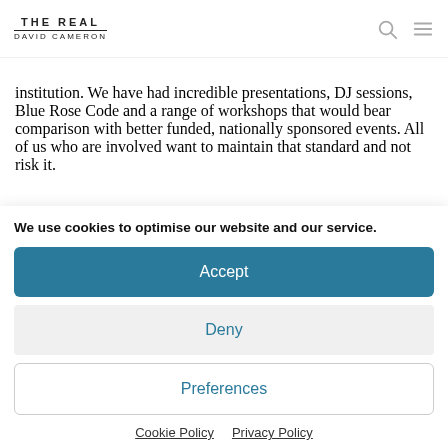THE REAL DAVID CAMERON
institution. We have had incredible presentations, DJ sessions, Blue Rose Code and a range of workshops that would bear comparison with better funded, nationally sponsored events. All of us who are involved want to maintain that standard and not risk it.
We use cookies to optimise our website and our service.
Accept
Deny
Preferences
Cookie Policy  Privacy Policy